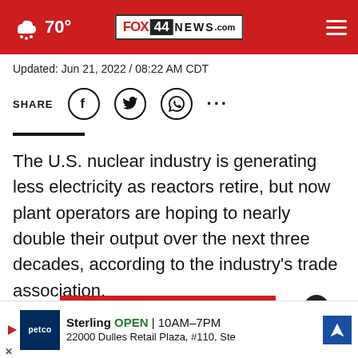FOX 44 NEWS.com — 70°
Updated: Jun 21, 2022 / 08:22 AM CDT
SHARE
The U.S. nuclear industry is generating less electricity as reactors retire, but now plant operators are hoping to nearly double their output over the next three decades, according to the industry's trade association.
The massive s[obscured] e uti[obscured]es
CONTINUE READING
[Figure (other): Petco advertisement banner showing store name, open hours 10AM-7PM, address 22000 Dulles Retail Plaza, #110, Ste, with navigation icon]